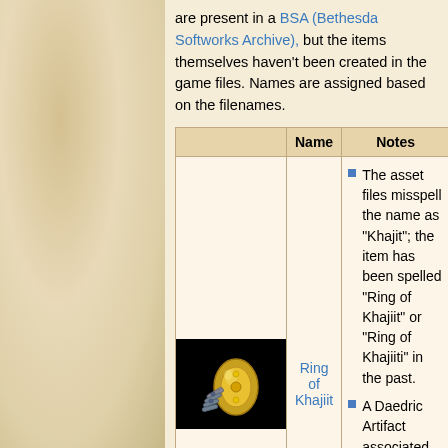are present in a BSA (Bethesda Softworks Archive), but the items themselves haven't been created in the game files. Names are assigned based on the filenames.
|  | Name | Notes |
| --- | --- | --- |
| [Ring of Khajiit image] | Ring of Khajiit | • The asset files misspell the name as "Khajit"; the item has been spelled "Ring of Khajiit" or "Ring of Khajiiti" in the past.
• A Daedric Artifact associated with two Daedric Princes, Meridia and Mephala. For historical information... |